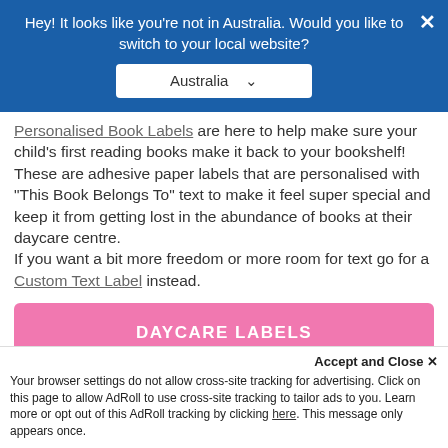Hey! It looks like you're not in Australia. Would you like to switch to your local website?
Australia (dropdown)
Personalised Book Labels are here to help make sure your child's first reading books make it back to your bookshelf! These are adhesive paper labels that are personalised with "This Book Belongs To" text to make it feel super special and keep it from getting lost in the abundance of books at their daycare centre.
If you want a bit more freedom or more room for text go for a Custom Text Label instead.
DAYCARE LABELS
View the full range of Essential
Daycare Labels
Accept and Close ✕
Your browser settings do not allow cross-site tracking for advertising. Click on this page to allow AdRoll to use cross-site tracking to tailor ads to you. Learn more or opt out of this AdRoll tracking by clicking here. This message only appears once.